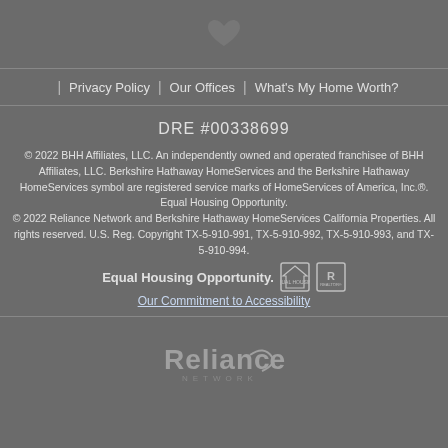[Figure (logo): Heart icon in dark gray]
Privacy Policy | Our Offices | What's My Home Worth?
DRE #00338699
© 2022 BHH Affiliates, LLC. An independently owned and operated franchisee of BHH Affiliates, LLC. Berkshire Hathaway HomeServices and the Berkshire Hathaway HomeServices symbol are registered service marks of HomeServices of America, Inc.®. Equal Housing Opportunity.
© 2022 Reliance Network and Berkshire Hathaway HomeServices California Properties. All rights reserved. U.S. Reg. Copyright TX-5-910-991, TX-5-910-992, TX-5-910-993, and TX-5-910-994.
Equal Housing Opportunity.
Our Commitment to Accessibility
[Figure (logo): Reliance Network logo in gray]